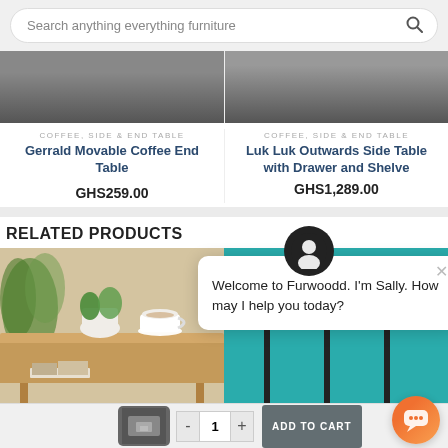Search anything everything furniture
COFFEE, SIDE & END TABLE
Gerrald Movable Coffee End Table
GHS259.00
COFFEE, SIDE & END TABLE
Luk Luk Outwards Side Table with Drawer and Shelve
GHS1,289.00
RELATED PRODUCTS
[Figure (photo): Related product photo - wooden side table with plant and cup on top]
[Figure (screenshot): Chat popup: Welcome to Furwoodd. I'm Sally. How may I help you today?]
Welcome to Furwoodd. I'm Sally. How may I help you today?